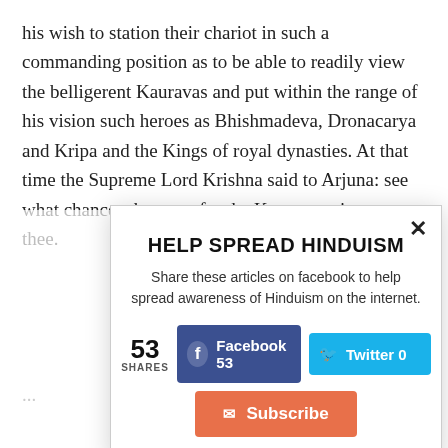his wish to station their chariot in such a commanding position as to be able to readily view the belligerent Kauravas and put within the range of his vision such heroes as Bhishmadeva, Dronacarya and Kripa and the Kings of royal dynasties. At that time the Supreme Lord Krishna said to Arjuna: see what chances there are for the Kauravas victory over thee.
[Figure (other): Modal popup dialog: 'HELP SPREAD HINDUISM' with Facebook 53 shares button, Twitter 0 button, Subscribe button, and a close X button. Shows 53 SHARES count.]
...
T... th... d...